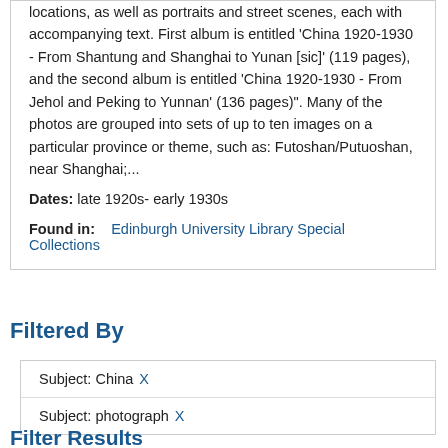locations, as well as portraits and street scenes, each with accompanying text. First album is entitled 'China 1920-1930 - From Shantung and Shanghai to Yunan [sic]' (119 pages), and the second album is entitled 'China 1920-1930 - From Jehol and Peking to Yunnan' (136 pages)". Many of the photos are grouped into sets of up to ten images on a particular province or theme, such as: Futoshan/Putuoshan, near Shanghai;...
Dates: late 1920s- early 1930s
Found in:    Edinburgh University Library Special Collections
Filtered By
Subject: China X
Subject: photograph X
Filter Results